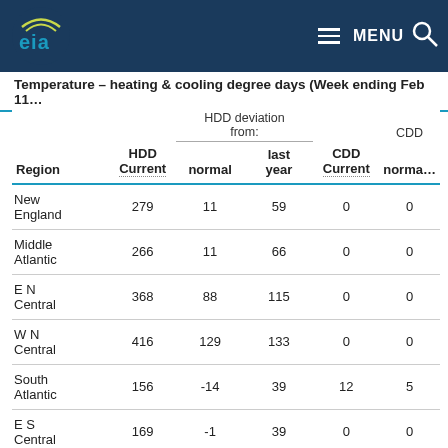EIA — MENU (navigation header)
Temperature – heating & cooling degree days (Week ending Feb 11…)
| Region | HDD Current | HDD deviation from: normal | HDD deviation from: last year | CDD Current | CDD normal… |
| --- | --- | --- | --- | --- | --- |
| New England | 279 | 11 | 59 | 0 | 0 |
| Middle Atlantic | 266 | 11 | 66 | 0 | 0 |
| E N Central | 368 | 88 | 115 | 0 | 0 |
| W N Central | 416 | 129 | 133 | 0 | 0 |
| South Atlantic | 156 | -14 | 39 | 12 | 5 |
| E S Central | 169 | -1 | 39 | 0 | 0 |
| W S Central | 132 | 14 | 20 | 0 | -4 |
| Mountain | 209 | -2 | -25 | 0 | -1 |